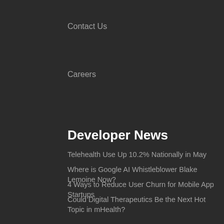Contact Us
Careers
Developer News
Telehealth Use Up 10.2% Nationally in May
Where is Google AI Whistleblower Blake Lemoine Now?
4 Ways to Reduce User Churn for Mobile App Startups
Could Digital Therapeutics Be the Next Hot Topic in mHealth?
Dogtown Media CEO, Marc Fischer Speaks At The 7th Annual Neurological Disorders Summit To Discuss Remote Patient Monitoring In Patients With Neurological Disorders
Can Wearable Devices Catch a Concussion